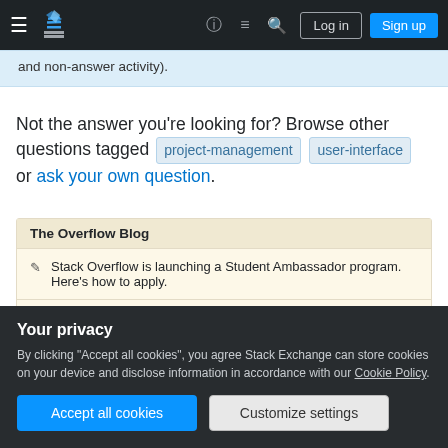Stack Exchange navigation bar with Log in and Sign up buttons
and non-answer activity).
Not the answer you're looking for? Browse other questions tagged project-management user-interface or ask your own question.
The Overflow Blog
Stack Overflow is launching a Student Ambassador program. Here's how to apply.
What companies lose when they track worker productivity (Ep. ?).
Your privacy
By clicking "Accept all cookies", you agree Stack Exchange can store cookies on your device and disclose information in accordance with our Cookie Policy.
Accept all cookies    Customize settings